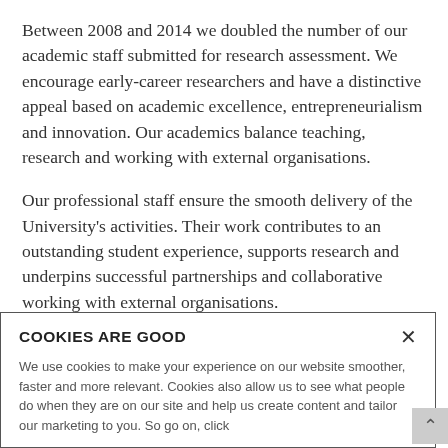Between 2008 and 2014 we doubled the number of our academic staff submitted for research assessment. We encourage early-career researchers and have a distinctive appeal based on academic excellence, entrepreneurialism and innovation. Our academics balance teaching, research and working with external organisations.
Our professional staff ensure the smooth delivery of the University's activities. Their work contributes to an outstanding student experience, supports research and underpins successful partnerships and collaborative working with external organisations.
COOKIES ARE GOOD
We use cookies to make your experience on our website smoother, faster and more relevant. Cookies also allow us to see what people do when they are on our site and help us create content and tailor our marketing to you. So go on, click